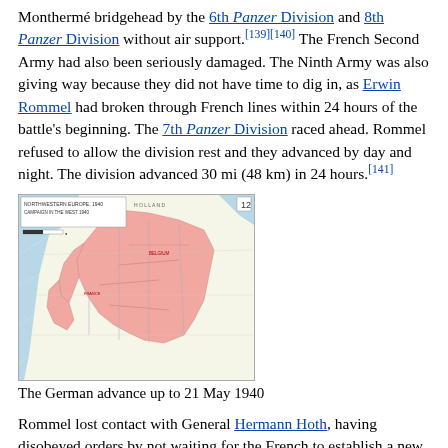Monthermé bridgehead by the 6th Panzer Division and 8th Panzer Division without air support.[139][140] The French Second Army had also been seriously damaged. The Ninth Army was also giving way because they did not have time to dig in, as Erwin Rommel had broken through French lines within 24 hours of the battle's beginning. The 7th Panzer Division raced ahead. Rommel refused to allow the division rest and they advanced by day and night. The division advanced 30 mi (48 km) in 24 hours.[141]
[Figure (map): Map titled 'Northwestern Europe 1940 – Campaign in the West 1940' showing the German advance up to 21 May 1940. A large pink/salmon shaded area indicates German-controlled territory over northwestern France and Belgium. Blue shading indicates water/coast areas.]
The German advance up to 21 May 1940
Rommel lost contact with General Hermann Hoth, having disobeyed orders by not waiting for the French to establish a new line of defence. The 7th Panzer Division continued to advance north-west to Avesnes-sur-Helpe, just ahead of the 1st and 2nd